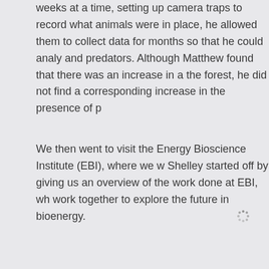weeks at a time, setting up camera traps to record what animals were in place, he allowed them to collect data for months so that he could analy… and predators. Although Matthew found that there was an increase in a… the forest, he did not find a corresponding increase in the presence of p…
We then went to visit the Energy Bioscience Institute (EBI), where we w… Shelley started off by giving us an overview of the work done at EBI, wh… work together to explore the future in bioenergy.
[Figure (other): A small loading spinner or decorative dot-grid icon centered in the lower half of the page.]